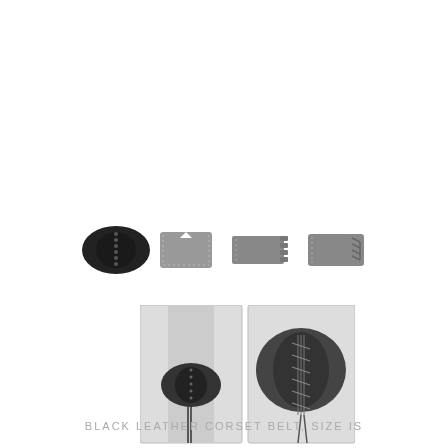[Figure (photo): Four views of a black leather corset belt arranged in a row: front view showing lace-up closure (dark/black), flat open view from front (gray), flat open view from back with studs (gray), and side lace-up view (gray)]
[Figure (photo): Two larger photos of the black leather corset belt being worn: left image shows front view on mannequin/person showing the lace-up front corset style belt, right image shows a close-up of the lace-up detail at center front]
BLACK LEATHER CORSET BELT, SIZE IS